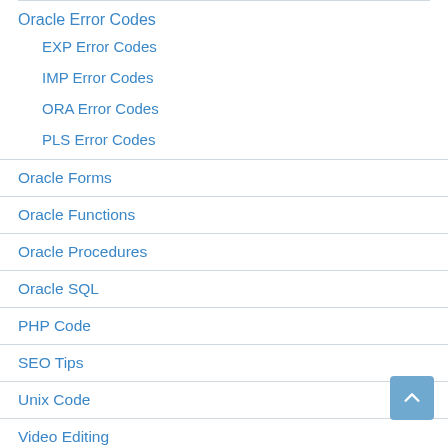Oracle Error Codes
EXP Error Codes
IMP Error Codes
ORA Error Codes
PLS Error Codes
Oracle Forms
Oracle Functions
Oracle Procedures
Oracle SQL
PHP Code
SEO Tips
Unix Code
Video Editing